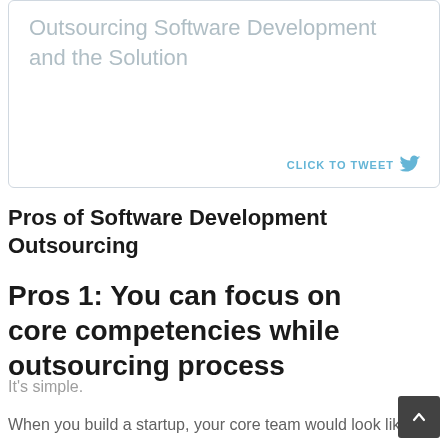Pros and Cons of Outsourcing Software Development and the Solution
CLICK TO TWEET
Pros of Software Development Outsourcing
Pros 1: You can focus on core competencies while outsourcing process
It's simple.
When you build a startup, your core team would look like